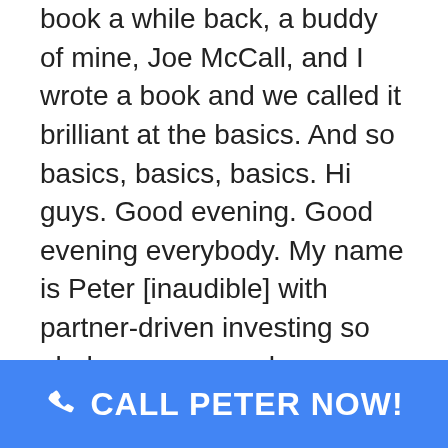book a while back, a buddy of mine, Joe McCall, and I wrote a book and we called it brilliant at the basics. And so basics, basics, basics. Hi guys. Good evening. Good evening everybody. My name is Peter [inaudible] with partner-driven investing so glad you guys are here. Tuesday night live. We've been doing these live Tuesday night webinars for really as long as we're, as long as we've been partnering with people. And, um, and we initially launched the Tuesday night series because it was a way for us to kind of spread the message of partner driven. And interestingly enough, you know, years down
CALL PETER NOW!